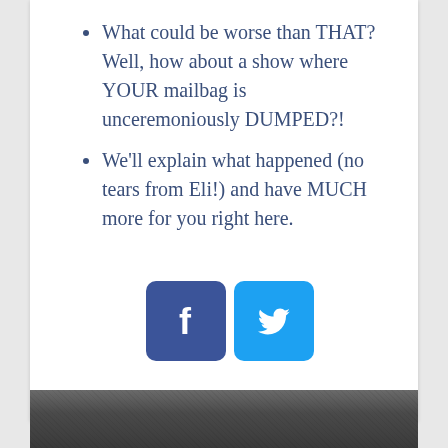What could be worse than THAT? Well, how about a show where YOUR mailbag is unceremoniously DUMPED?!
We'll explain what happened (no tears from Eli!) and have MUCH more for you right here.
[Figure (illustration): Two social media share buttons side by side: a dark blue Facebook button with 'f' logo, and a light blue Twitter button with bird logo.]
[Figure (photo): Partial grayscale photo visible at the bottom of the page, showing what appears to be people or figures in a dark, textured image.]